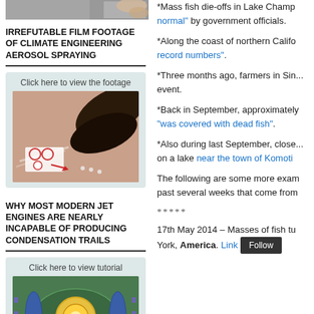[Figure (photo): Top cropped photo showing hands, grey tones]
IRREFUTABLE FILM FOOTAGE OF CLIMATE ENGINEERING AEROSOL SPRAYING
[Figure (screenshot): Video thumbnail showing aerosol spray from aircraft nozzle with red arrow annotations. Label: Click here to view the footage]
WHY MOST MODERN JET ENGINES ARE NEARLY INCAPABLE OF PRODUCING CONDENSATION TRAILS
[Figure (illustration): Video thumbnail showing jet engine cutaway diagram in green/blue tones. Label: Click here to view tutorial]
*Mass fish die-offs in Lake Champ... normal" by government officials.
*Along the coast of northern Califo... record numbers".
*Three months ago, farmers in Sin... event.
*Back in September, approximately... "was covered with dead fish".
*Also during last September, close... on a lake near the town of Komoti...
The following are some more exam... past several weeks that come from...
*****
17th May 2014 – Masses of fish tu... York, America. Link...
Follow